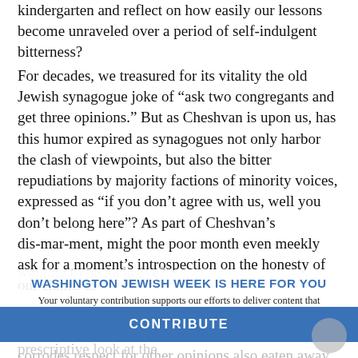kindergarten and reflect on how easily our lessons become unraveled over a period of self-indulgent bitterness?
For decades, we treasured for its vitality the old Jewish synagogue joke of “ask two congregants and get three opinions.” But as Cheshvan is upon us, has this humor expired as synagogues not only harbor the clash of viewpoints, but also the bitter repudiations by majority factions of minority voices, expressed as “if you don’t agree with us, well you don’t belong here”? As part of Cheshvan’s dis-mar-ment, might the poor month even meekly ask for a moment’s introspection on the honesty of our claims to wanting to be inclusive?
WASHINGTON JEWISH WEEK IS HERE FOR YOU
Your voluntary contribution supports our efforts to deliver content that engages and helps strengthen the Jewish community in the DMV.
Cheshvan’s dis-mar-ment also begs a non-prescriptive look at the
CONTRIBUTE
corrodes respect for other opinions also eaten away at the camaraderie and mutuality of greater purpose? Have conversations become impatient, goading and humorless? For